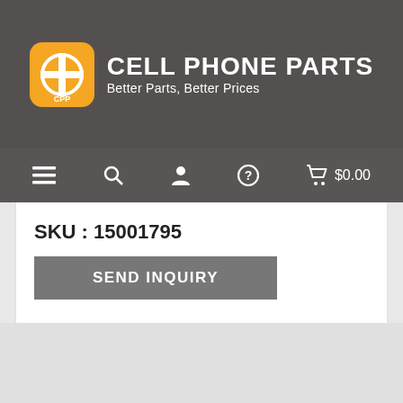[Figure (logo): Cell Phone Parts logo with orange rounded square icon containing CPP and plus symbol, next to text CELL PHONE PARTS / Better Parts, Better Prices]
≡  🔍  👤  ?  🛒 $0.00
SKU : 15001795
SEND INQUIRY
HOME  ABOUT US  FACTORY  QC  GRADE  CONTACT  SHIPPING  PAYMENT  WARRANTY  BLOG  SITEMAP  AB BATTERY